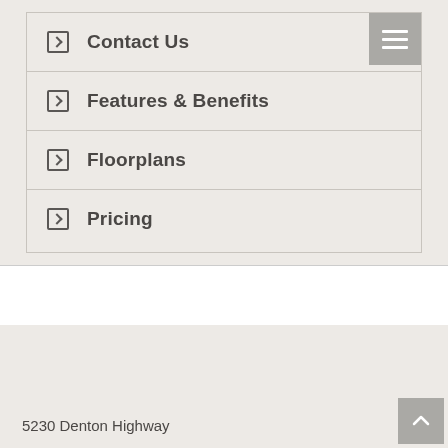Contact Us
Features & Benefits
Floorplans
Pricing
5230 Denton Highway